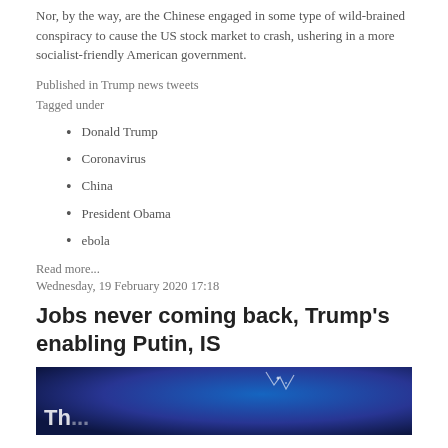Nor, by the way, are the Chinese engaged in some type of wild-brained conspiracy to cause the US stock market to crash, ushering in a more socialist-friendly American government.
Published in Trump news tweets
Tagged under
Donald Trump
Coronavirus
China
President Obama
ebola
Read more...
Wednesday, 19 February 2020 17:18
Jobs never coming back, Trump's enabling Putin, IS
[Figure (photo): Dark blue background image with partial white bold text 'Th...' visible at bottom left]